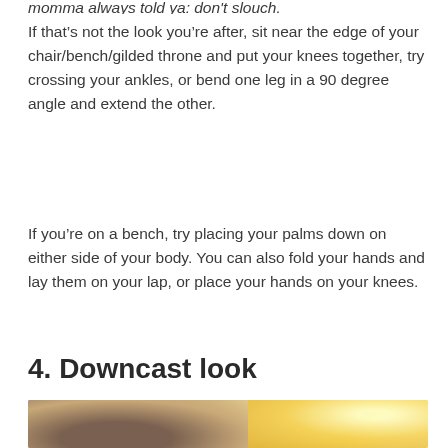If that’s not the look you’re after, sit near the edge of your chair/bench/gilded throne and put your knees together, try crossing your ankles, or bend one leg in a 90 degree angle and extend the other.
If you’re on a bench, try placing your palms down on either side of your body. You can also fold your hands and lay them on your lap, or place your hands on your knees.
4. Downcast look
[Figure (photo): Partial photo of a woman with blonde hair, photographed outdoors with bright warm sunlight in the background, cropped at bottom of page.]